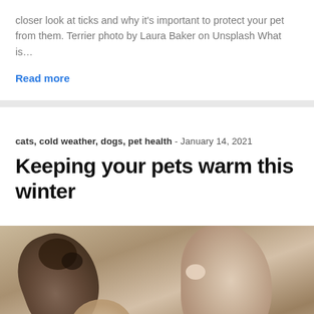closer look at ticks and why it's important to protect your pet from them. Terrier photo by Laura Baker on Unsplash What is…
Read more
cats, cold weather, dogs, pet health - January 14, 2021
Keeping your pets warm this winter
[Figure (photo): Close-up photo of a kitten lying on its back, showing its paws and face, with a blurred background]